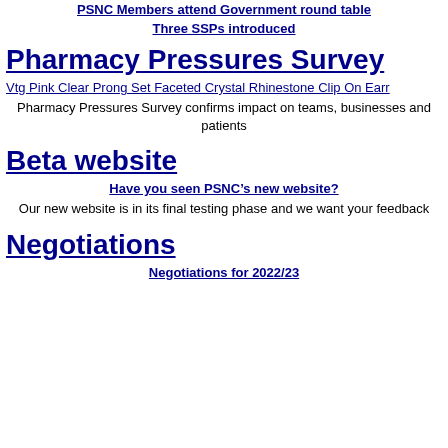PSNC Members attend Government round table
Three SSPs introduced
Pharmacy Pressures Survey
Vtg Pink Clear Prong Set Faceted Crystal Rhinestone Clip On Earr
Pharmacy Pressures Survey confirms impact on teams, businesses and patients
Beta website
Have you seen PSNC’s new website?
Our new website is in its final testing phase and we want your feedback
Negotiations
Negotiations for 2022/23